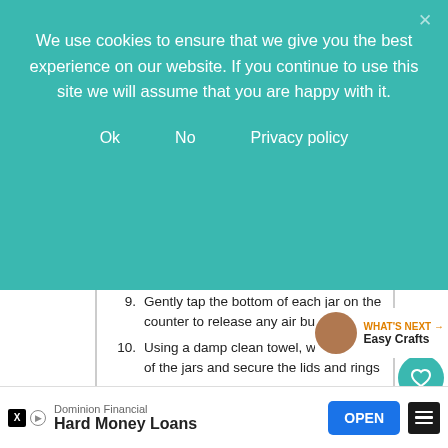We use cookies to ensure that we give you the best experience on our website. If you continue to use this site we will assume that you are happy with it.
Ok   No   Privacy policy
9. Gently tap the bottom of each jar on the counter to release any air bubbles
10. Using a damp clean towel, wipe the rims of the jars and secure the lids and rings
11. Process in a water bath for 10-15 minutes
12. Remove the containers with tongs and let cool on the counter.
13. You'll hear the sound of can tops popping shortly—a sign that a secure seal has been made
14. Or, you can refrigerate the jar without processing within three weeks
WHAT'S NEXT → Easy Crafts
Dominion Financial  Hard Money Loans  OPEN